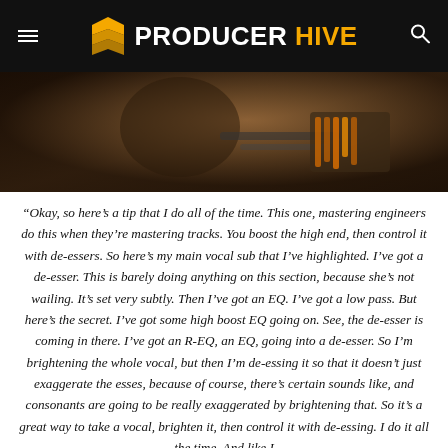PRODUCER HIVE
[Figure (photo): Person working at a music production studio with keyboards and mixing equipment]
“Okay, so here’s a tip that I do all of the time. This one, mastering engineers do this when they’re mastering tracks. You boost the high end, then control it with de-essers. So here’s my main vocal sub that I’ve highlighted. I’ve got a de-esser. This is barely doing anything on this section, because she’s not wailing. It’s set very subtly. Then I’ve got an EQ. I’ve got a low pass. But here’s the secret. I’ve got some high boost EQ going on. See, the de-esser is coming in there. I’ve got an R-EQ, an EQ, going into a de-esser. So I’m brightening the whole vocal, but then I’m de-essing it so that it doesn’t just exaggerate the esses, because of course, there’s certain sounds like, and consonants are going to be really exaggerated by brightening that. So it’s a great way to take a vocal, brighten it, then control it with de-essing. I do it all the time. And like I